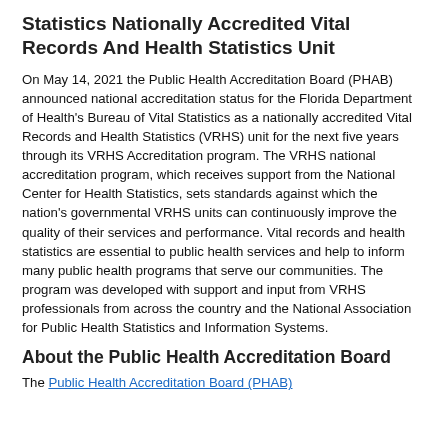Statistics Nationally Accredited Vital Records And Health Statistics Unit
On May 14, 2021 the Public Health Accreditation Board (PHAB) announced national accreditation status for the Florida Department of Health's Bureau of Vital Statistics as a nationally accredited Vital Records and Health Statistics (VRHS) unit for the next five years through its VRHS Accreditation program. The VRHS national accreditation program, which receives support from the National Center for Health Statistics, sets standards against which the nation's governmental VRHS units can continuously improve the quality of their services and performance. Vital records and health statistics are essential to public health services and help to inform many public health programs that serve our communities. The program was developed with support and input from VRHS professionals from across the country and the National Association for Public Health Statistics and Information Systems.
About the Public Health Accreditation Board
The Public Health Accreditation Board (PHAB)